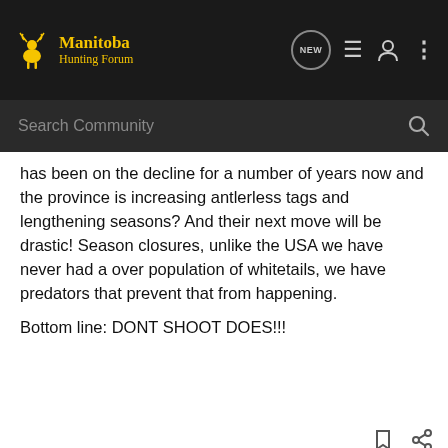Manitoba Hunting Forum
has been on the decline for a number of years now and the province is increasing antlerless tags and lengthening seasons? And their next move will be drastic! Season closures, unlike the USA we have never had a over population of whitetails, we have predators that prevent that from happening.

Bottom line: DONT SHOOT DOES!!!
BBW · Registered
Joined Dec 6, 2011 · 530 Posts
[Figure (screenshot): Fusion X Stealth Cam Cellular Trail Camera advertisement banner]